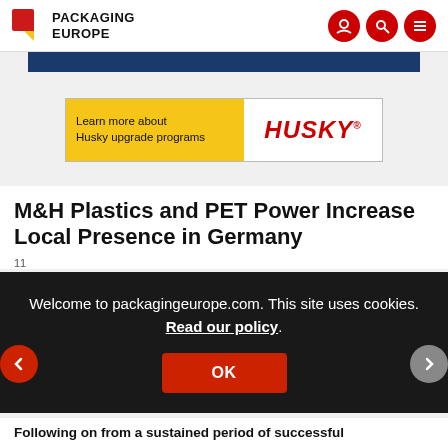PACKAGING EUROPE
[Figure (illustration): Husky upgrade programs advertisement banner with yellow and white sections]
M&H Plastics and PET Power Increase Local Presence in Germany
11
Welcome to packagingeurope.com. This site uses cookies. Read our policy.
OK
Following on from a sustained period of successful